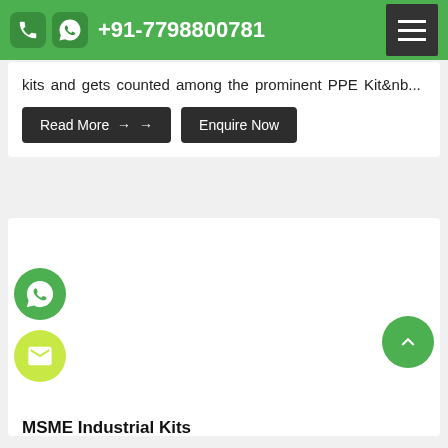+91-7798800781
kits and gets counted among the prominent PPE Kit&nb...
Read More →   Enquire Now
[Figure (photo): Factory worker wearing blue hairnet and face mask, working at a sewing machine surrounded by maroon fabric in an industrial garment factory]
MSME Industrial Kits